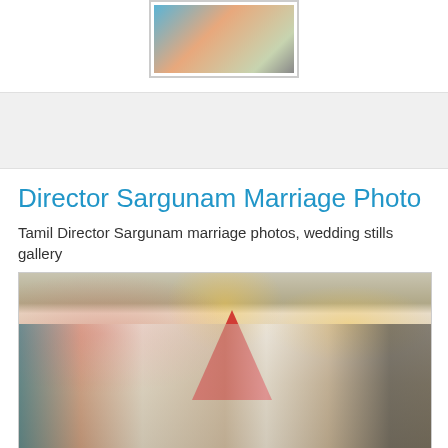[Figure (photo): Small thumbnail photo of people standing together at an event, with border frame]
[Figure (photo): Gray advertisement banner area]
Director Sargunam Marriage Photo
Tamil Director Sargunam marriage photos, wedding stills gallery
[Figure (photo): Wedding photo showing Director Sargunam and bride with garlands surrounded by family and guests at a decorated wedding venue with flowers and a red triangular backdrop]